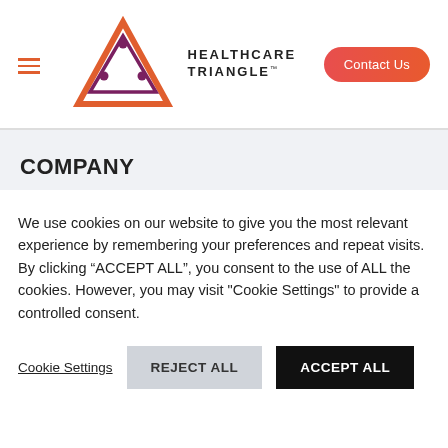[Figure (logo): Healthcare Triangle logo with triangle graphic in orange/red and purple colors, and wordmark HEALTHCARE TRIANGLE TM]
COMPANY
Our Story & Mission
We use cookies on our website to give you the most relevant experience by remembering your preferences and repeat visits. By clicking "ACCEPT ALL", you consent to the use of ALL the cookies. However, you may visit "Cookie Settings" to provide a controlled consent.